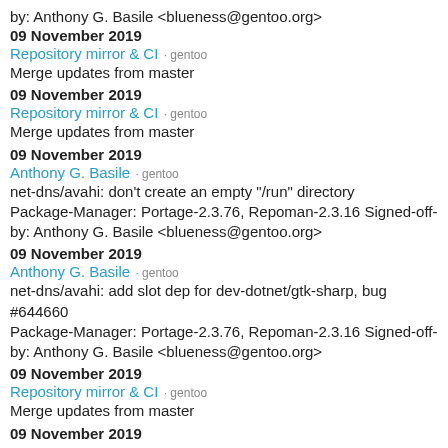by: Anthony G. Basile <blueness@gentoo.org>
09 November 2019
Repository mirror & CI · gentoo
Merge updates from master
09 November 2019
Repository mirror & CI · gentoo
Merge updates from master
09 November 2019
Anthony G. Basile · gentoo
net-dns/avahi: don't create an empty "/run" directory Package-Manager: Portage-2.3.76, Repoman-2.3.16 Signed-off-by: Anthony G. Basile <blueness@gentoo.org>
09 November 2019
Anthony G. Basile · gentoo
net-dns/avahi: add slot dep for dev-dotnet/gtk-sharp, bug #644660 Package-Manager: Portage-2.3.76, Repoman-2.3.16 Signed-off-by: Anthony G. Basile <blueness@gentoo.org>
09 November 2019
Repository mirror & CI · gentoo
Merge updates from master
09 November 2019